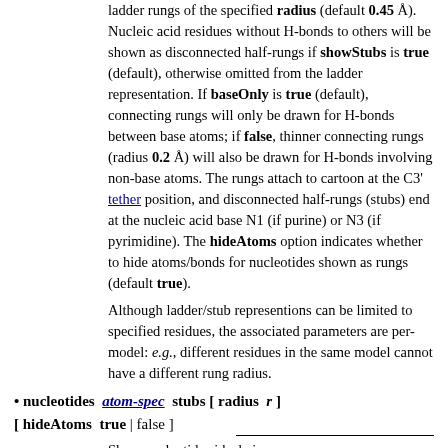ladder rungs of the specified radius (default 0.45 Å). Nucleic acid residues without H-bonds to others will be shown as disconnected half-rungs if showStubs is true (default), otherwise omitted from the ladder representation. If baseOnly is true (default), connecting rungs will only be drawn for H-bonds between base atoms; if false, thinner connecting rungs (radius 0.2 Å) will also be drawn for H-bonds involving non-base atoms. The rungs attach to cartoon at the C3' tether position, and disconnected half-rungs (stubs) end at the nucleic acid base N1 (if purine) or N3 (if pyrimidine). The hideAtoms option indicates whether to hide atoms/bonds for nucleotides shown as rungs (default true).
Although ladder/stub representions can be limited to specified residues, the associated parameters are per-model: e.g., different residues in the same model cannot have a different rung radius.
• nucleotides  atom-spec  stubs [ radius r ] [ hideAtoms  true | false ]
Show nucleotide sidechains as disconnected half-rungs of the specified radius (default 0.45 Å). The rungs attach to cartoon at the C3'